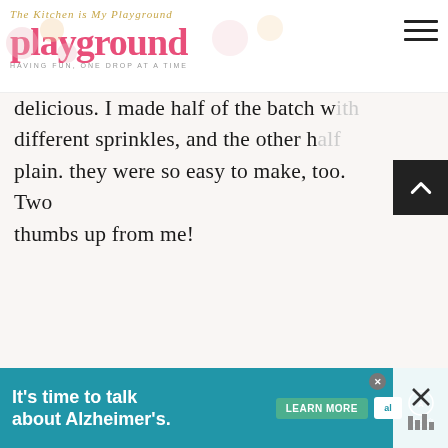[Figure (logo): The Kitchen is My Playground blog logo with pink 'playground' text and cupcake decorations]
delicious. I made half of the batch with different sprinkles, and the other half plain. they were so easy to make, too. Two thumbs up from me!
Anonymous
February 14, 2014 at 9:09 PM
[Figure (photo): Valentine Chocolate thumbnail with WHAT'S NEXT label]
This recipe is great! Just made them for
[Figure (infographic): It's time to talk about Alzheimer's. advertisement banner with LEARN MORE button and Alzheimer's Association logo]